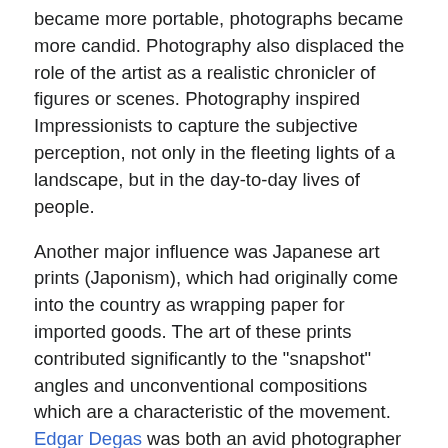became more portable, photographs became more candid. Photography also displaced the role of the artist as a realistic chronicler of figures or scenes. Photography inspired Impressionists to capture the subjective perception, not only in the fleeting lights of a landscape, but in the day-to-day lives of people.
Another major influence was Japanese art prints (Japonism), which had originally come into the country as wrapping paper for imported goods. The art of these prints contributed significantly to the "snapshot" angles and unconventional compositions which are a characteristic of the movement. Edgar Degas was both an avid photographer and a collector of Japanese prints.[11] His The Dance Class (La classe de danse) of 1874, shows both influences in its asymmetrical composition. The dancers are seemingly caught off guard in various awkward poses, leaving an expanse of empty floor space in the lower right quadrant.